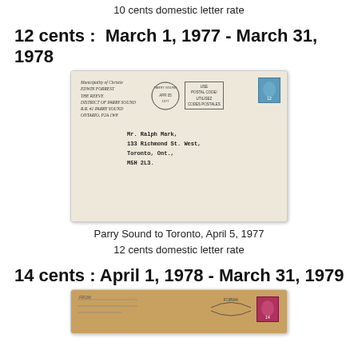10 cents domestic letter rate
12 cents :  March 1, 1977 - March 31, 1978
[Figure (photo): Envelope from Municipality of Christie, Parry Sound to Mr. Ralph Mark, 133 Richmond St. West, Toronto, Ont., M5H 2L3, dated April 5, 1977, showing a 12 cent Canadian stamp and postal cancellation with USE POSTAL CODE / UTILISEZ CODES POSTALES slogan.]
Parry Sound to Toronto, April 5, 1977
12 cents domestic letter rate
14 cents : April 1, 1978 - March 31, 1979
[Figure (photo): Partially visible brown envelope with a pink/red Canadian stamp and postal cancellation, partial view showing FORWA... cancellation text.]